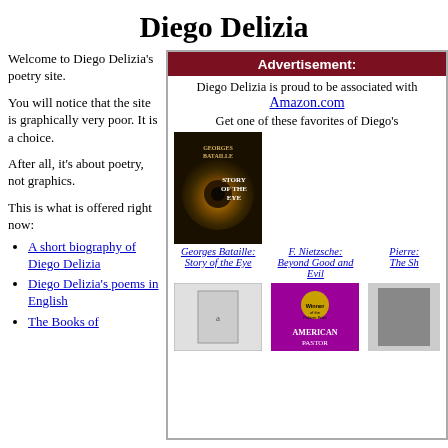Diego Delizia
Welcome to Diego Delizia's poetry site.
You will notice that the site is graphically very poor. It is a choice.
After all, it's about poetry, not graphics.
This is what is offered right now:
A short biography of Diego Delizia
Diego Delizia's poems in English
The Books of
Advertisement:
Diego Delizia is proud to be associated with Amazon.com
Get one of these favorites of Diego's
[Figure (photo): Book cover: Georges Bataille - Story of the Eye]
Georges Bataille: Story of the Eye
F. Nietzsche: Beyond Good and Evil
Pierre: The Sh...
[Figure (photo): Second row of book covers]
American Pastor (partially visible)